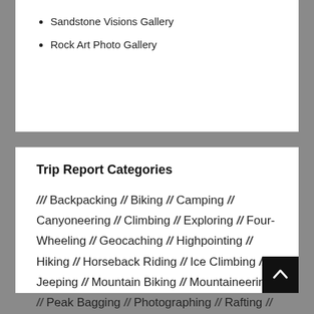Sandstone Visions Gallery
Rock Art Photo Gallery
Trip Report Categories
/// Backpacking // Biking // Camping // Canyoneering // Climbing // Exploring // Four-Wheeling // Geocaching // Highpointing // Hiking // Horseback Riding // Ice Climbing // Jeeping // Mountain Biking // Mountaineering // Peak Bagging // Photographing // Rafting // Snowshoeing // Touring ///